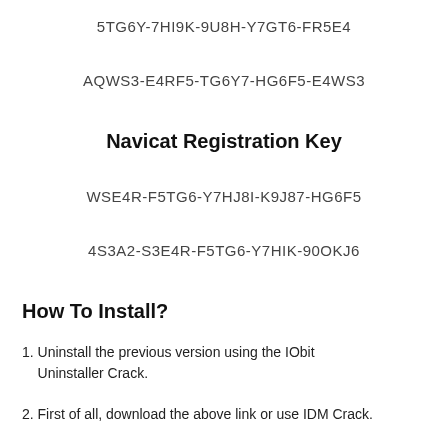5TG6Y-7HI9K-9U8H-Y7GT6-FR5E4
AQWS3-E4RF5-TG6Y7-HG6F5-E4WS3
Navicat Registration Key
WSE4R-F5TG6-Y7HJ8I-K9J87-HG6F5
4S3A2-S3E4R-F5TG6-Y7HIK-90OKJ6
How To Install?
1. Uninstall the previous version using the IObit Uninstaller Crack.
2. First of all, download the above link or use IDM Crack.